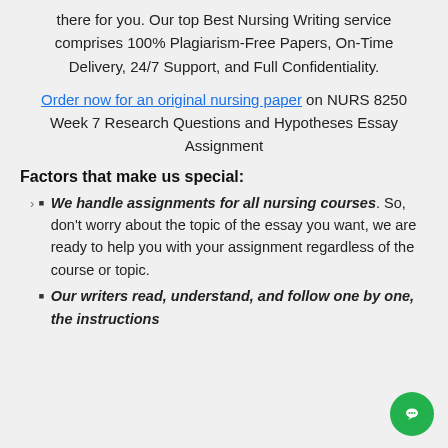there for you. Our top Best Nursing Writing service comprises 100% Plagiarism-Free Papers, On-Time Delivery, 24/7 Support, and Full Confidentiality.
Order now for an original nursing paper on NURS 8250 Week 7 Research Questions and Hypotheses Essay Assignment
Factors that make us special:
We handle assignments for all nursing courses. So, don't worry about the topic of the essay you want, we are ready to help you with your assignment regardless of the course or topic.
Our writers read, understand, and follow one by one, the instructions provided to deliver the most accurate...